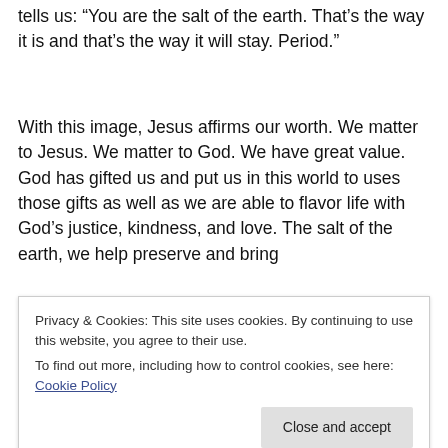tells us: "You are the salt of the earth. That's the way it is and that's the way it will stay. Period."
With this image, Jesus affirms our worth. We matter to Jesus. We matter to God. We have great value. God has gifted us and put us in this world to uses those gifts as well as we are able to flavor life with God's justice, kindness, and love. The salt of the earth, we help preserve and bring
Privacy & Cookies: This site uses cookies. By continuing to use this website, you agree to their use.
To find out more, including how to control cookies, see here: Cookie Policy
profound and deep faith in Jesus Christ. At one point, he